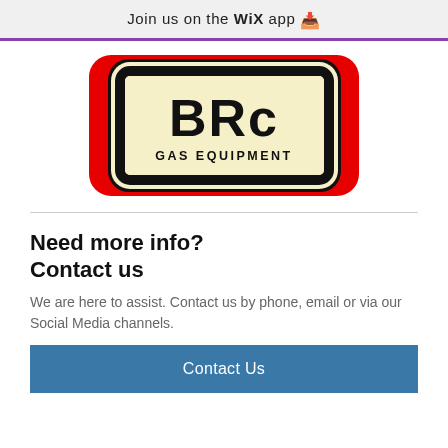Join us on the WiX app ⬇
[Figure (logo): BRC Gas Equipment logo: bold black letters 'BRc' and subtitle 'GAS EQUIPMENT' on a cream/yellow background with rounded rectangle border, set within a red rounded rectangle background.]
Need more info? Contact us
We are here to assist. Contact us by phone, email or via our Social Media channels.
Contact Us